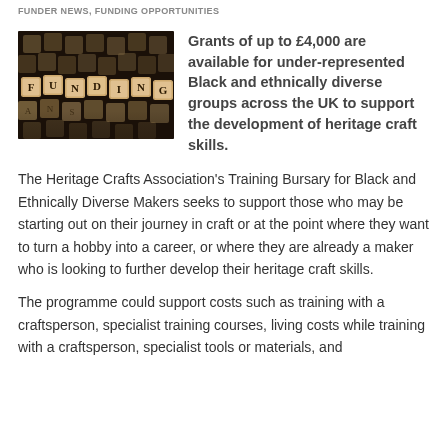FUNDER NEWS, FUNDING OPPORTUNITIES
[Figure (photo): Wooden letter dice/cubes spelling out FUNDING on a dark background]
Grants of up to £4,000 are available for under-represented Black and ethnically diverse groups across the UK to support the development of heritage craft skills.
The Heritage Crafts Association's Training Bursary for Black and Ethnically Diverse Makers seeks to support those who may be starting out on their journey in craft or at the point where they want to turn a hobby into a career, or where they are already a maker who is looking to further develop their heritage craft skills.
The programme could support costs such as training with a craftsperson, specialist training courses, living costs while training with a craftsperson, specialist tools or materials, and